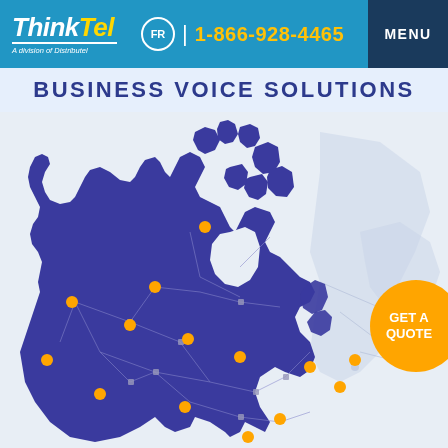[Figure (logo): ThinkTel logo - italic bold white text with yellow 'T', subtitle 'A division of Distributel']
FR | 1-866-928-4465 | MENU
BUSINESS VOICE SOLUTIONS
[Figure (map): Map of Canada in dark purple/indigo with network connection dots (orange nodes) and lines showing business voice network coverage across all provinces and territories. Right side shows ghost/outline of eastern provinces. Orange 'GET A QUOTE' circular button on right side.]